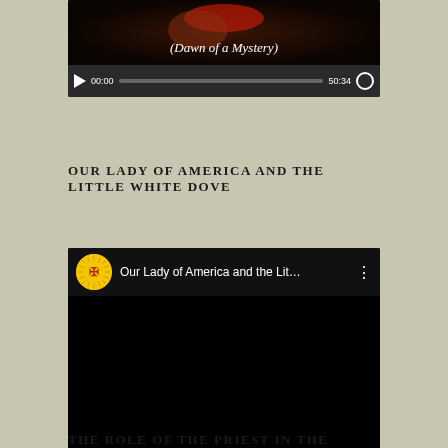[Figure (screenshot): Video player showing a dark screen with text '(Dawn of a Mystery)', controls showing 00:00 / 50:34]
OUR LADY OF AMERICA AND THE LITTLE WHITE DOVE
[Figure (screenshot): Video player titled 'Our Lady of America and the Lit...' with sun/cross logo thumbnail, controls showing 00:00 / 55:20]
THE ROLE OF THE PRIEST IN THE KINGDOM OF THE